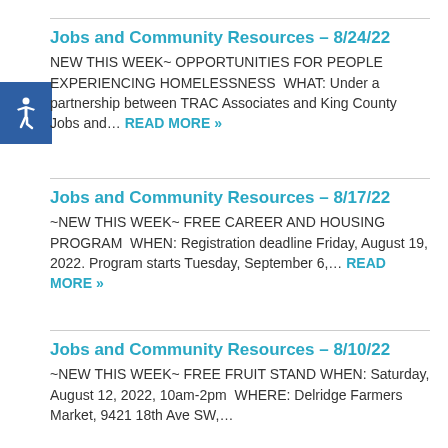Jobs and Community Resources – 8/24/22
NEW THIS WEEK~ OPPORTUNITIES FOR PEOPLE EXPERIENCING HOMELESSNESS  WHAT: Under a partnership between TRAC Associates and King County Jobs and… READ MORE »
Jobs and Community Resources – 8/17/22
~NEW THIS WEEK~ FREE CAREER AND HOUSING PROGRAM  WHEN: Registration deadline Friday, August 19, 2022. Program starts Tuesday, September 6,… READ MORE »
Jobs and Community Resources – 8/10/22
~NEW THIS WEEK~ FREE FRUIT STAND WHEN: Saturday, August 12, 2022, 10am-2pm  WHERE: Delridge Farmers Market, 9421 18th Ave SW,…